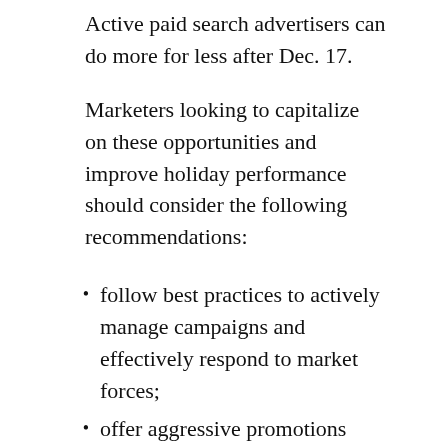Active paid search advertisers can do more for less after Dec. 17.
Marketers looking to capitalize on these opportunities and improve holiday performance should consider the following recommendations:
follow best practices to actively manage campaigns and effectively respond to market forces;
offer aggressive promotions early to capture shoppers;
actively participate in the last week of free standard shipping prior to Christmas;
embrace mobile to ensure the channel's increasing importance is fully captured.